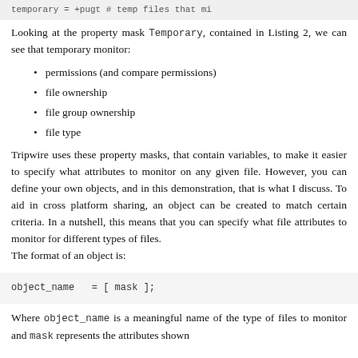temporary =  +pugt                    # temp files that mi
Looking at the property mask Temporary, contained in Listing 2, we can see that temporary monitor:
permissions (and compare permissions)
file ownership
file group ownership
file type
Tripwire uses these property masks, that contain variables, to make it easier to specify what attributes to monitor on any given file. However, you can define your own objects, and in this demonstration, that is what I discuss. To aid in cross platform sharing, an object can be created to match certain criteria. In a nutshell, this means that you can specify what file attributes to monitor for different types of files.
The format of an object is:
object_name   = [ mask ];
Where object_name is a meaningful name of the type of files to monitor and mask represents the attributes shown